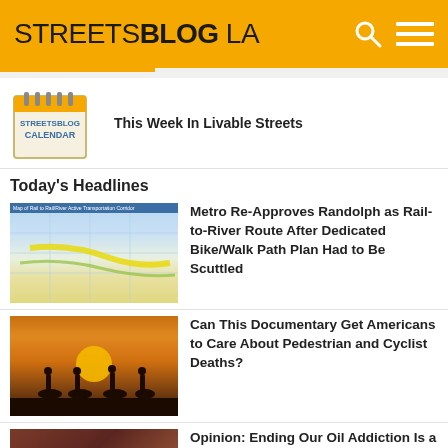STREETSBLOG LA
[Figure (screenshot): Streetsblog LA website screenshot with logo header in gold/yellow and article listings]
This Week In Livable Streets
Today's Headlines
Metro Re-Approves Randolph as Rail-to-River Route After Dedicated Bike/Walk Path Plan Had to Be Scuttled
Can This Documentary Get Americans to Care About Pedestrian and Cyclist Deaths?
Opinion: Ending Our Oil Addiction Is a Moral Imperative for Inflation and the Climate